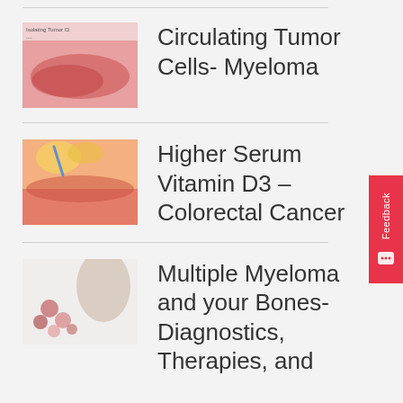[Figure (illustration): Thumbnail image related to Circulating Tumor Cells - Myeloma, showing pink/red biological imagery with small label text]
Circulating Tumor Cells- Myeloma
[Figure (illustration): Thumbnail image related to Higher Serum Vitamin D3 - Colorectal Cancer, showing skin/intestine cross-section with yellow and pink tones]
Higher Serum Vitamin D3 – Colorectal Cancer
[Figure (illustration): Thumbnail image related to Multiple Myeloma and your Bones, showing bone/cell microscopy imagery]
Multiple Myeloma and your Bones- Diagnostics, Therapies, and